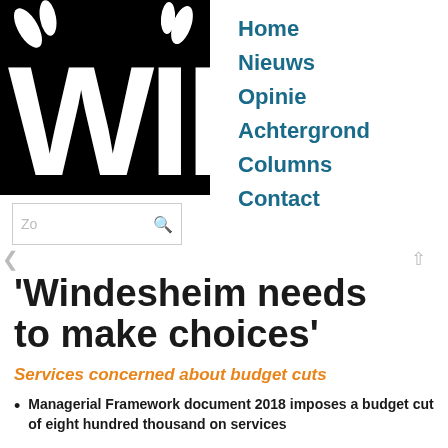[Figure (logo): WIN logo in white text on black background, showing letters WIN with decorative leaf/branch elements]
[Figure (other): Search box with placeholder text 'Zo' and magnifying glass icon]
Home
Nieuws
Opinie
Achtergrond
Columns
Contact
'Windesheim needs to make choices'
Services concerned about budget cuts
Managerial Framework document 2018 imposes a budget cut of eight hundred thousand on services